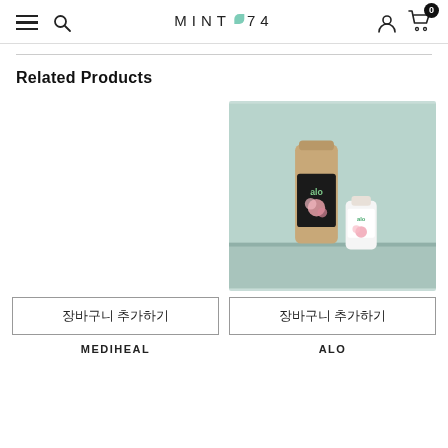MINT 74 — navigation header with hamburger, search, logo, account, cart (0 items)
Related Products
장바구니 추가하기 (Add to Cart) — MEDIHEAL product
[Figure (photo): ALO product photo showing two cosmetic bottles (a tall brown tube and a small white bottle with alo branding and floral design) on a mint/light blue background]
장바구니 추가하기 (Add to Cart) — ALO product
MEDIHEAL
ALO